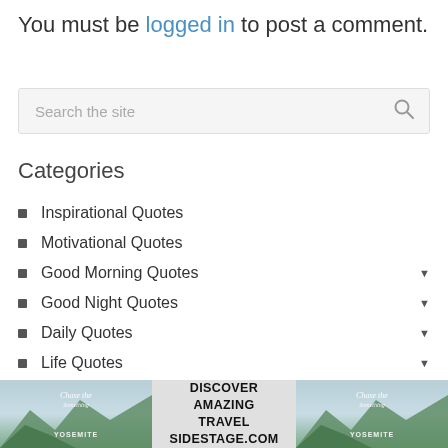You must be logged in to post a comment.
[Figure (screenshot): Search input box with placeholder text 'Search the site' and a search icon on the right]
Categories
Inspirational Quotes
Motivational Quotes
Good Morning Quotes
Good Night Quotes
Daily Quotes
Life Quotes
Relationship
Love Quotes
Family Quotes
[Figure (infographic): Advertisement banner: two mountain/Yosemite travel images on the sides with text 'DISCOVER AMAZING TRAVEL SIDESTAGE.COM' in the center]